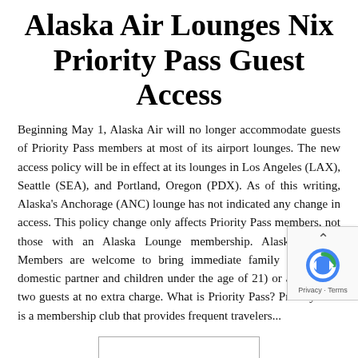Alaska Air Lounges Nix Priority Pass Guest Access
Beginning May 1, Alaska Air will no longer accommodate guests of Priority Pass members at most of its airport lounges. The new access policy will be in effect at its lounges in Los Angeles (LAX), Seattle (SEA), and Portland, Oregon (PDX). As of this writing, Alaska's Anchorage (ANC) lounge has not indicated any change in access. This policy change only affects Priority Pass members, not those with an Alaska Lounge membership. Alaska Lounge Members are welcome to bring immediate family (spouse or domestic partner and children under the age of 21) or as many as two guests at no extra charge. What is Priority Pass? Priority Pass is a membership club that provides frequent travelers...